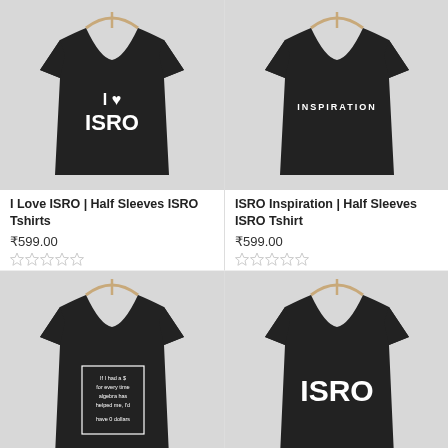[Figure (photo): Black t-shirt on a hanger with 'I ♥ ISRO' text printed in white on the front, against a light grey background]
I Love ISRO | Half Sleeves ISRO Tshirts
₹599.00
[Figure (photo): Black t-shirt on a hanger with 'INSPIRATION' text printed in white on the front, against a light grey background]
ISRO Inspiration | Half Sleeves ISRO Tshirt
₹599.00
[Figure (photo): Black t-shirt on a hanger with a quote 'If I had a $ for every time algebra has helped me, I'd have 0 dollars' printed in a white box on the front, against a light grey background]
[Figure (photo): Black t-shirt on a hanger with bold 'ISRO' text printed in white on the front, against a light grey background]